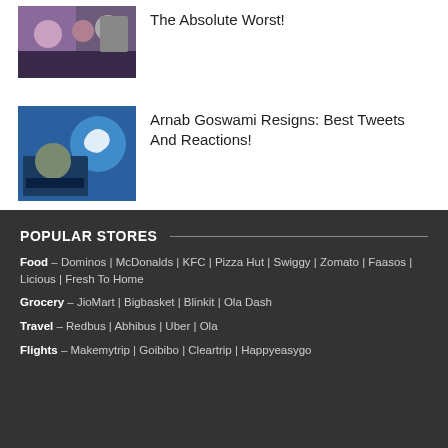[Figure (photo): Group photo with people including someone in glasses]
The Absolute Worst!
[Figure (photo): Arnab Goswami with Twitter bird logo overlay]
Arnab Goswami Resigns: Best Tweets And Reactions!
POPULAR STORES
Food – Dominos | McDonalds | KFC | Pizza Hut | Swiggy | Zomato | Faasos | Licious | Fresh To Home
Grocery – JioMart | Bigbasket | Blinkit | Ola Dash
Travel – Redbus | Abhibus | Uber | Ola
Flights – Makemytrip | Goibibo | Cleartrip | Happyeasygo